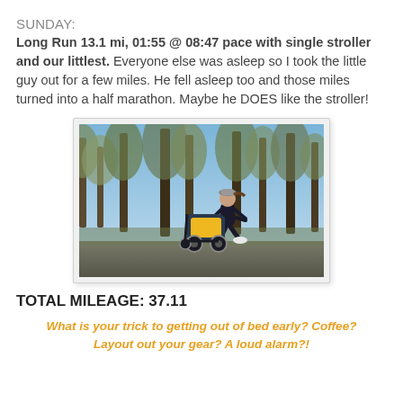SUNDAY:
Long Run 13.1 mi, 01:55 @ 08:47 pace with single stroller and our littlest. Everyone else was asleep so I took the little guy out for a few miles. He fell asleep too and those miles turned into a half marathon. Maybe he DOES like the stroller!
[Figure (photo): A person running with a jogging stroller along a path with bare trees and a blue sky in the background.]
TOTAL MILEAGE: 37.11
What is your trick to getting out of bed early? Coffee? Layout out your gear? A loud alarm?!